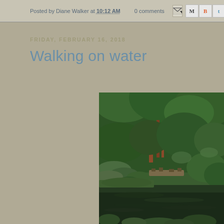Posted by Diane Walker at 10:12 AM   0 comments
FRIDAY, FEBRUARY 16, 2018
Walking on water
[Figure (photo): A lush garden scene with dense green foliage, ferns, hostas, and a dark reflective pond or water feature in the foreground. Trees and shrubs fill the background.]